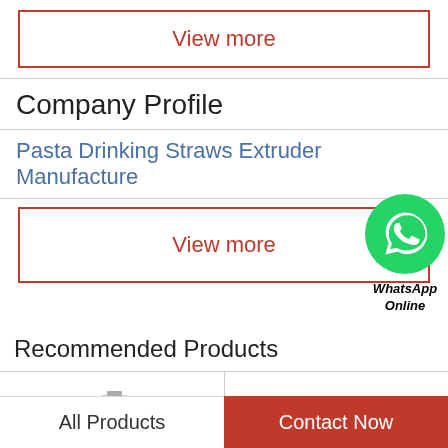View more
Company Profile
Pasta Drinking Straws Extruder Manufacture
View more
[Figure (logo): WhatsApp green circle logo with phone handset icon, labeled 'WhatsApp Online' below]
Recommended Products
[Figure (photo): Industrial pasta/food extruder machine in gray/silver color]
[Figure (photo): Industrial food extruder machine with yellow bowl of pasta/food product]
All Products
Contact Now